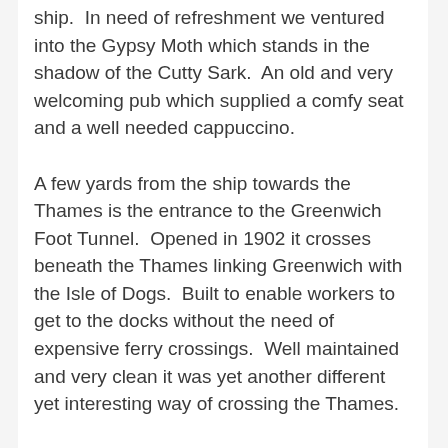ship.  In need of refreshment we ventured into the Gypsy Moth which stands in the shadow of the Cutty Sark.  An old and very welcoming pub which supplied a comfy seat and a well needed cappuccino.
A few yards from the ship towards the Thames is the entrance to the Greenwich Foot Tunnel.  Opened in 1902 it crosses beneath the Thames linking Greenwich with the Isle of Dogs.  Built to enable workers to get to the docks without the need of expensive ferry crossings.  Well maintained and very clean it was yet another different yet interesting way of crossing the Thames.
Next stop, another hop on a train and a short walk down towards St Paul's Cathedral.  Another way of